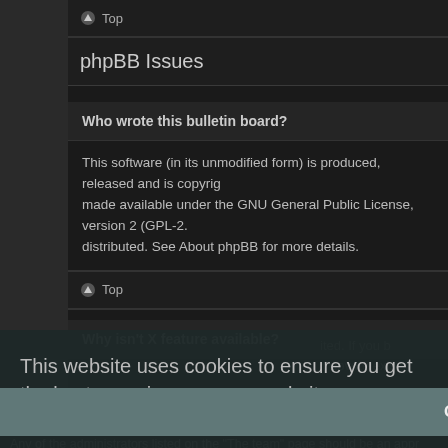⬆ Top
phpBB Issues
Who wrote this bulletin board?
This software (in its unmodified form) is produced, released and is copyright made available under the GNU General Public License, version 2 (GPL-2. distributed. See About phpBB for more details.
⬆ Top
Why isn't X feature available?
This website uses cookies to ensure you get the best experience on our website.
Learn more
ited. If you b
↑ upvote exis
Got it!
lted to this l
Any of the administrators listed on the "The team" page should be an appr